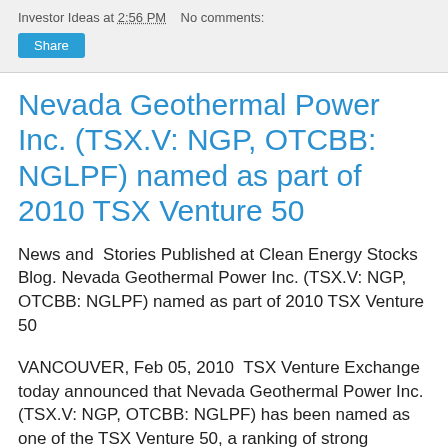Investor Ideas at 2:56 PM   No comments:
Share
Nevada Geothermal Power Inc. (TSX.V: NGP, OTCBB: NGLPF) named as part of 2010 TSX Venture 50
News and  Stories Published at Clean Energy Stocks Blog. Nevada Geothermal Power Inc. (TSX.V: NGP, OTCBB: NGLPF) named as part of 2010 TSX Venture 50
VANCOUVER, Feb 05, 2010  TSX Venture Exchange today announced that Nevada Geothermal Power Inc. (TSX.V: NGP, OTCBB: NGLPF) has been named as one of the TSX Venture 50, a ranking of strong performers listed on TSX Venture Exchange. TSX Venture 50 is comprised of 10 emerging companies in five industry sectors that have been